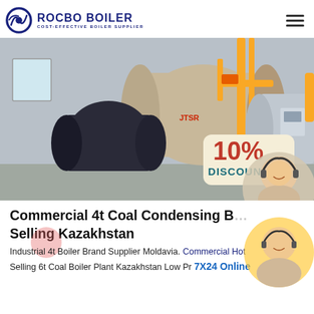ROCBO BOILER — COST-EFFECTIVE BOILER SUPPLIER
[Figure (photo): Industrial gas boilers in a factory setting with yellow pipes. A '10% DISCOUNT' promotional badge overlaid in lower right corner.]
Commercial 4t Coal Condensing Boiler Best Selling Kazakhstan
Industrial 4t Boiler Brand Supplier Moldavia. Commercial Hot Selling 6t Coal Boiler Plant Kazakhstan Low Pr...